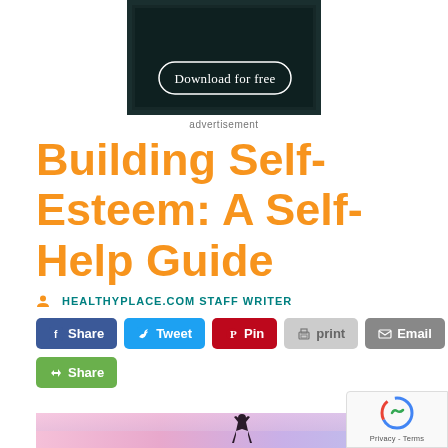[Figure (screenshot): Dark advertisement banner with 'Download for free' button in rounded rectangle border]
advertisement
Building Self-Esteem: A Self-Help Guide
HEALTHYPLACE.COM STAFF WRITER
[Figure (infographic): Social sharing buttons: Share (Facebook), Tweet (Twitter), Pin (Pinterest), print, Email, Share (generic)]
[Figure (photo): Person in yoga pose silhouette against pink/purple sunset sky background]